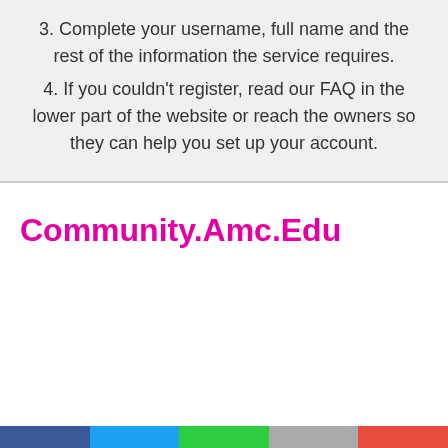3. Complete your username, full name and the rest of the information the service requires.
4. If you couldn't register, read our FAQ in the lower part of the website or reach the owners so they can help you set up your account.
Community.Amc.Edu